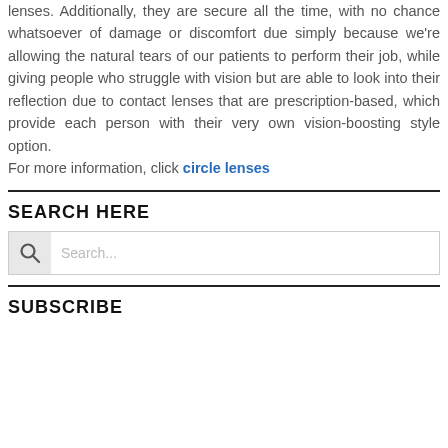lenses. Additionally, they are secure all the time, with no chance whatsoever of damage or discomfort due simply because we're allowing the natural tears of our patients to perform their job, while giving people who struggle with vision but are able to look into their reflection due to contact lenses that are prescription-based, which provide each person with their very own vision-boosting style option. For more information, click circle lenses
SEARCH HERE
[Figure (screenshot): Search input box with magnifying glass icon on left and placeholder text 'Search...']
SUBSCRIBE